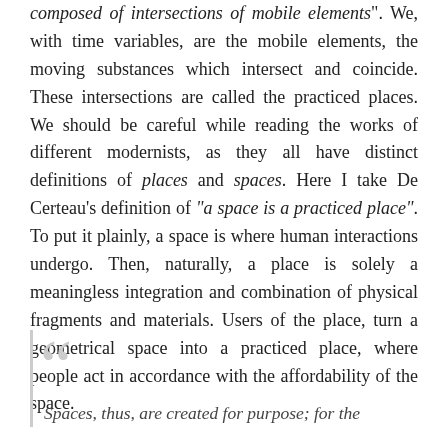composed of intersections of mobile elements". We, with time variables, are the mobile elements, the moving substances which intersect and coincide. These intersections are called the practiced places. We should be careful while reading the works of different modernists, as they all have distinct definitions of places and spaces. Here I take De Certeau's definition of "a space is a practiced place". To put it plainly, a space is where human interactions undergo. Then, naturally, a place is solely a meaningless integration and combination of physical fragments and materials. Users of the place, turn a geometrical space into a practiced place, where people act in accordance with the affordability of the space.
Spaces, thus, are created for purpose; for the